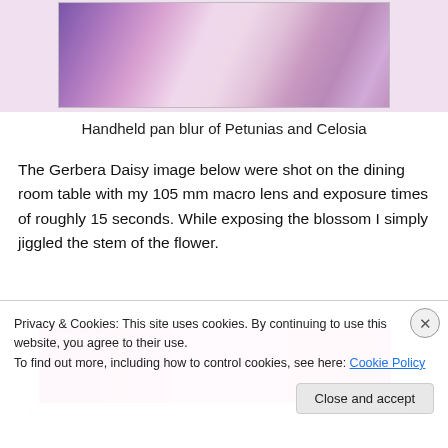[Figure (photo): Top portion of a handheld pan blur photograph of Petunias and Celosia flowers, showing blurred pink and purple floral colors]
Handheld pan blur of Petunias and Celosia
The Gerbera Daisy image below were shot on the dining room table with my 105 mm macro lens and exposure times of roughly 15 seconds. While exposing the blossom I simply jiggled the stem of the flower.
[Figure (photo): Bottom portion showing a vivid pink/magenta Gerbera Daisy macro photograph with a small watermark text reading 'Gordon McLachlan']
Privacy & Cookies: This site uses cookies. By continuing to use this website, you agree to their use.
To find out more, including how to control cookies, see here: Cookie Policy
Close and accept